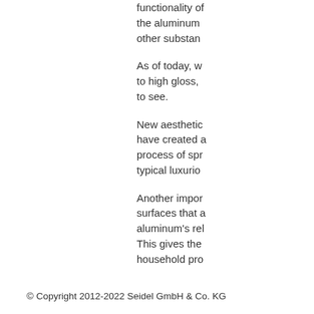functionality of the aluminum other substances
As of today, w to high gloss, to see.
New aesthetics have created a process of spr typical luxurio
Another impor surfaces that a aluminum's re This gives the household pro
© Copyright 2012-2022 Seidel GmbH & Co. KG